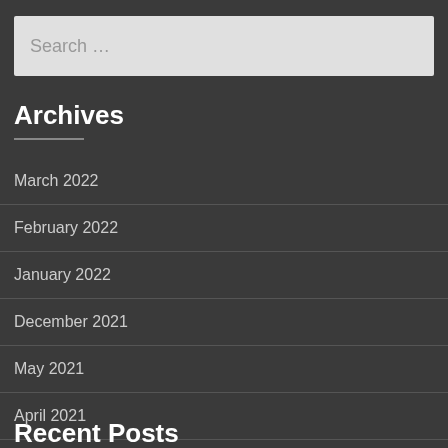Search …
Archives
March 2022
February 2022
January 2022
December 2021
May 2021
April 2021
Recent Posts